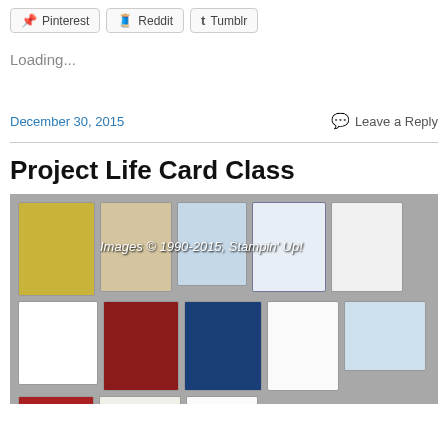Pinterest
Reddit
Tumblr
Loading...
December 30, 2015
Leave a Reply
Project Life Card Class
[Figure (photo): A collection of handmade Project Life cards spread on a table, including cards with a Christmas tree, stars, chevron pattern, polka dots, a house, birthday cake, and other decorative designs. A watermark reads: Images © 1990-2015, Stampin' Up!]